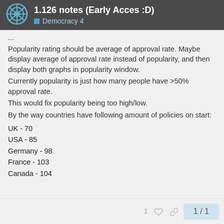1.126 notes (Early Acces :D) — Democracy 4
...
Popularity rating should be average of approval rate. Maybe display average of approval rate instead of popularity, and then display both graphs in popularity window.
Currently popularity is just how many people have >50% approval rate.
This would fix popularity being too high/low.
By the way countries have following amount of policies on start:
UK - 70
USA - 85
Germany - 98
France - 103
Canada - 104
1 ♡ 🔗   1/1